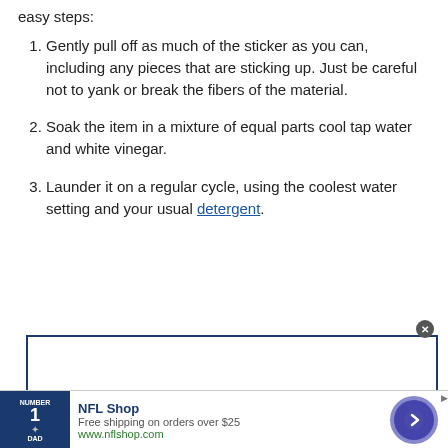easy steps:
Gently pull off as much of the sticker as you can, including any pieces that are sticking up. Just be careful not to yank or break the fibers of the material.
Soak the item in a mixture of equal parts cool tap water and white vinegar.
Launder it on a regular cycle, using the coolest water setting and your usual detergent.
[Figure (other): Advertisement box with blue border (empty/white inside)]
[Figure (other): NFL Shop advertisement banner: NFL jersey image on dark blue background, text 'NFL Shop / Free shipping on orders over $25 / www.nflshop.com', lavender circle with dark blue arrow button, close button]